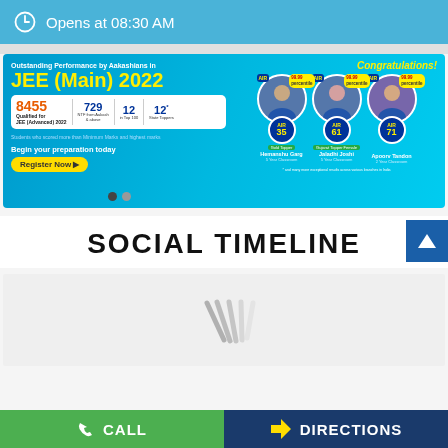Opens at 08:30 AM
[Figure (infographic): Aakash JEE Main 2022 results banner. Outstanding Performance by Aakashians in JEE (Main) 2022. 8455 Qualified for JEE (Advanced) 2022. 729 NTF from Aakash & above. 12 in Top 100. 12 State Toppers. Begin your preparation today. Register Now. Congratulations! Shows AIR 35 Hemanshu Garg, AIR 61 Jaladhi Joshi, AIR 71 Apoorv Tandon, all with 99.99 percentile.]
SOCIAL TIMELINE
[Figure (other): Loading spinner animation on grey background]
CALL   DIRECTIONS